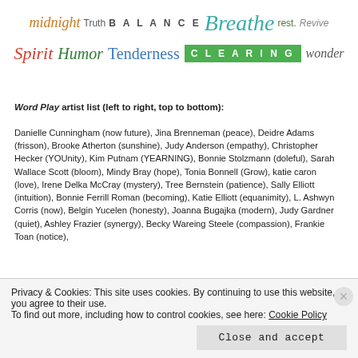[Figure (illustration): Header banner with stylized word logos in various fonts and colors: midnight (script orange), Truth (gray), BALANCE (spaced bold), Breathe (teal italic script), rest. (green), Revive (gray italic)]
[Figure (illustration): Second row of word logos: Spirit (red script), Humor (green italic serif), Tenderness (blue serif), CLEARING (white text on green box), wonder (gray italic)]
Word Play artist list (left to right, top to bottom):
Danielle Cunningham (now future), Jina Brenneman (peace), Deidre Adams (frisson), Brooke Atherton (sunshine), Judy Anderson (empathy), Christopher Hecker (YOUnity), Kim Putnam (YEARNING), Bonnie Stolzmann (doleful), Sarah Wallace Scott (bloom), Mindy Bray (hope), Tonia Bonnell (Grow), katie caron (love), Irene Delka McCray (mystery), Tree Bernstein (patience), Sally Elliott (intuition), Bonnie Ferrill Roman (becoming), Katie Elliott (equanimity), L. Ashwyn Corris (now), Belgin Yucelen (honesty), Joanna Bugajka (modern), Judy Gardner (quiet), Ashley Frazier (synergy), Becky Wareing Steele (compassion), Frankie Toan (notice),
Privacy & Cookies: This site uses cookies. By continuing to use this website, you agree to their use.
To find out more, including how to control cookies, see here: Cookie Policy